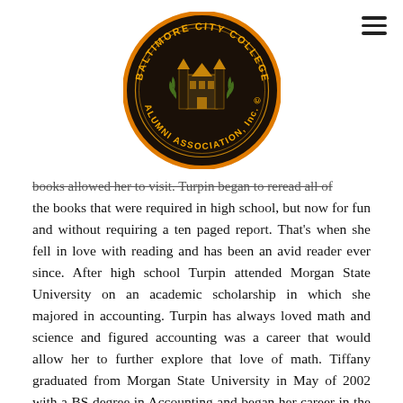[Figure (logo): Baltimore City College Alumni Association Inc. circular seal/logo with orange border and building illustration in center]
books allowed her to visit. Turpin began to reread all of the books that were required in high school, but now for fun and without requiring a ten paged report. That's when she fell in love with reading and has been an avid reader ever since. After high school Turpin attended Morgan State University on an academic scholarship in which she majored in accounting. Turpin has always loved math and science and figured accounting was a career that would allow her to further explore that love of math. Tiffany graduated from Morgan State University in May of 2002 with a BS degree in Accounting and began her career in the accounting field. But, Turpin never gave up on her love for reading.